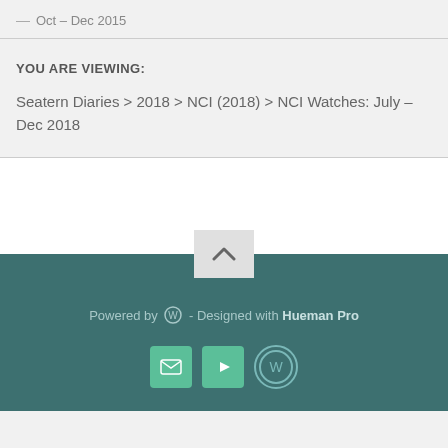— Oct – Dec 2015
YOU ARE VIEWING:
Seatern Diaries > 2018 > NCI (2018) > NCI Watches: July – Dec 2018
Powered by WordPress - Designed with Hueman Pro